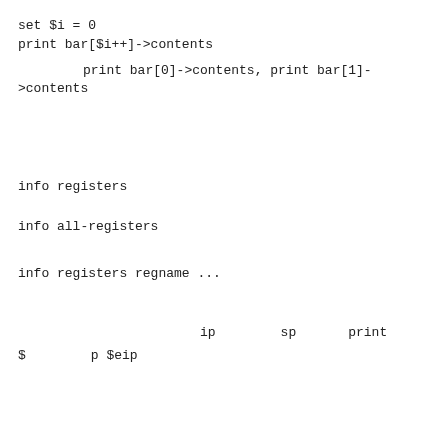set $i = 0
print bar[$i++]->contents
（日本語）print bar[0]->contents, print bar[1]->contents（日本語続き）
（日本語続き）
（日本語）
（日本語）
info registers
（日本語）
info all-registers
（日本語）
info registers regname ...
（日本語）
（日本語）ip（日本語）sp（日本語）print（日本語）
$（日本語）p $eip（）